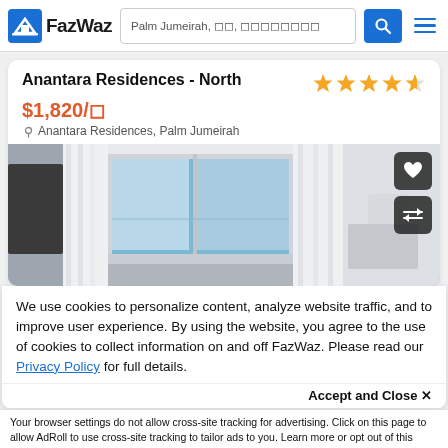FazWaz — Palm Jumeirah, navigation bar with search
Anantara Residences - North
$1,820/◻
Anantara Residences, Palm Jumeirah
[Figure (photo): Interior photo of a bright modern room with large windows and white curtains, with favorite and share/compare buttons overlaid]
We use cookies to personalize content, analyze website traffic, and to improve user experience. By using the website, you agree to the use of cookies to collect information on and off FazWaz. Please read our Privacy Policy for full details.
Accept and Close ✕
Your browser settings do not allow cross-site tracking for advertising. Click on this page to allow AdRoll to use cross-site tracking to tailor ads to you. Learn more or opt out of this AdRoll tracking by clicking here. This message only appears once.